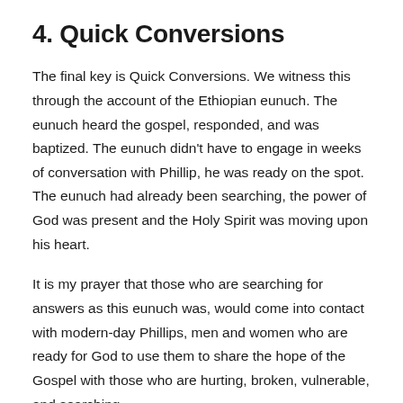4. Quick Conversions
The final key is Quick Conversions. We witness this through the account of the Ethiopian eunuch. The eunuch heard the gospel, responded, and was baptized. The eunuch didn't have to engage in weeks of conversation with Phillip, he was ready on the spot. The eunuch had already been searching, the power of God was present and the Holy Spirit was moving upon his heart.
It is my prayer that those who are searching for answers as this eunuch was, would come into contact with modern-day Phillips, men and women who are ready for God to use them to share the hope of the Gospel with those who are hurting, broken, vulnerable, and searching.